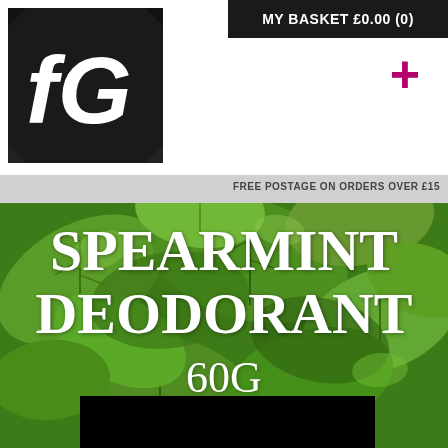[Figure (photo): Background photo of green spearmint leaves filling most of the page below the header]
MY BASKET £0.00 (0)
FREE POSTAGE ON ORDERS OVER £15
SPEARMINT DEODORANT
60G